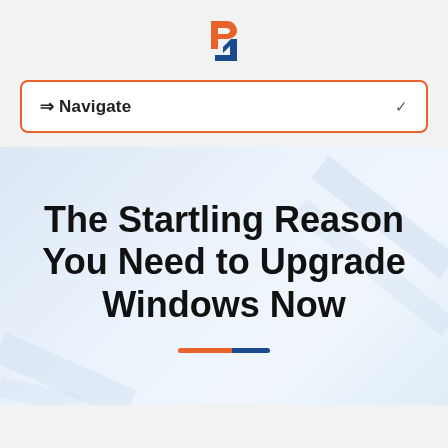[Figure (logo): Orange and blue interlocking hexagonal/angular logo mark]
⇒ Navigate
The Startling Reason You Need to Upgrade Windows Now